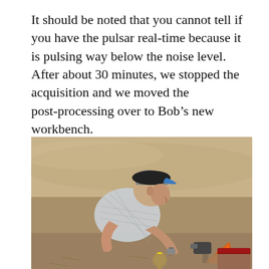It should be noted that you cannot tell if you have the pulsar real-time because it is pulsing way below the noise level. After about 30 minutes, we stopped the acquisition and we moved the post-processing over to Bob’s new workbench.
[Figure (photo): An older man wearing a blue-brimmed black cap and a plaid short-sleeve shirt is leaning over and working with a measuring tape and equipment on a surface in an outdoor dirt/sandy area. A drill and an orange triangular object are visible in the lower right.]